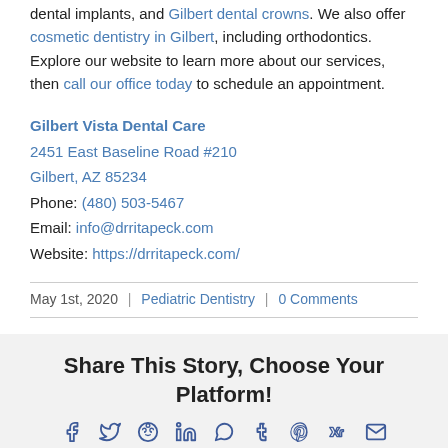dental implants, and Gilbert dental crowns. We also offer cosmetic dentistry in Gilbert, including orthodontics. Explore our website to learn more about our services, then call our office today to schedule an appointment.
Gilbert Vista Dental Care
2451 East Baseline Road #210
Gilbert, AZ 85234
Phone: (480) 503-5467
Email: info@drritapeck.com
Website: https://drritapeck.com/
May 1st, 2020 | Pediatric Dentistry | 0 Comments
Share This Story, Choose Your Platform!